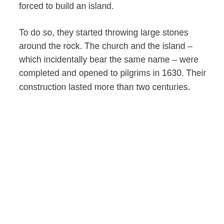forced to build an island.
To do so, they started throwing large stones around the rock. The church and the island – which incidentally bear the same name – were completed and opened to pilgrims in 1630. Their construction lasted more than two centuries.